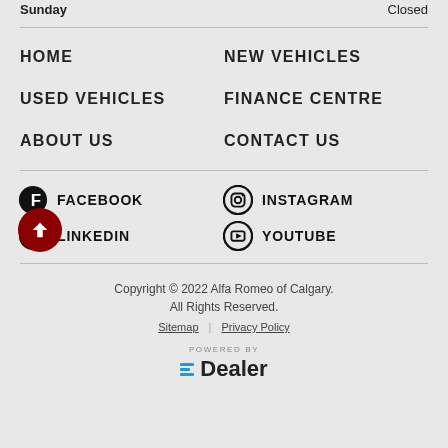Sunday    Closed
HOME
NEW VEHICLES
USED VEHICLES
FINANCE CENTRE
ABOUT US
CONTACT US
FACEBOOK
INSTAGRAM
LINKEDIN
YOUTUBE
Copyright © 2022 Alfa Romeo of Calgary. All Rights Reserved.
Sitemap | Privacy Policy
POWERED BY =Dealer